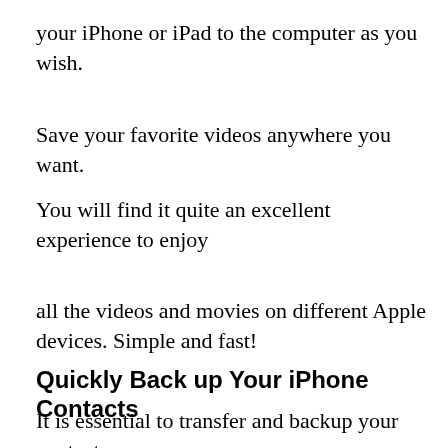your iPhone or iPad to the computer as you wish.
Save your favorite videos anywhere you want.
You will find it quite an excellent experience to enjoy
all the videos and movies on different Apple devices. Simple and fast!
Quickly Back up Your iPhone Contacts
It is essential to transfer and backup your contacts on